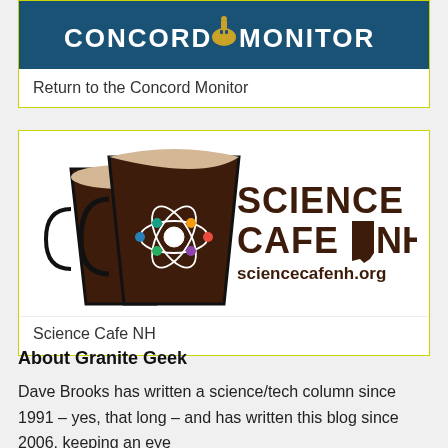[Figure (logo): Concord Monitor logo — white uppercase text 'CONCORD MONITOR' with a gold dome icon on a dark blue background]
Return to the Concord Monitor
[Figure (logo): Science Cafe NH logo — two overlapping coffee mugs (brown with tan cream top), an atom symbol on the mug, bold dark text 'SCIENCE CAFE NH' and 'sciencecafenh.org']
Science Cafe NH
About Granite Geek
Dave Brooks has written a science/tech column since 1991 – yes, that long – and has written this blog since 2006, keeping an eye on technology from high-data nutrition sources and